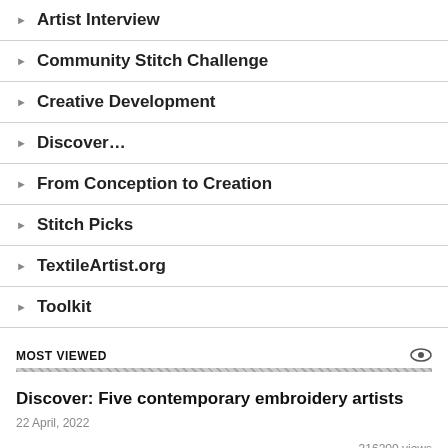Artist Interview
Community Stitch Challenge
Creative Development
Discover…
From Conception to Creation
Stitch Picks
TextileArtist.org
Toolkit
MOST VIEWED
Discover: Five contemporary embroidery artists
22 April, 2022
316200 views